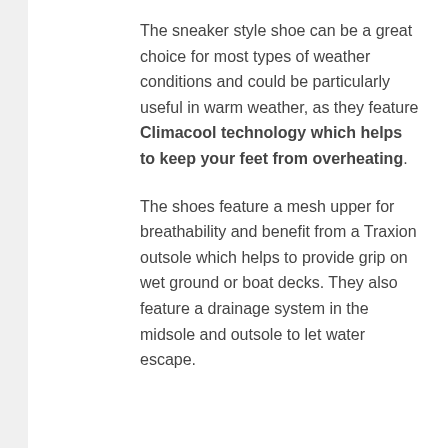The sneaker style shoe can be a great choice for most types of weather conditions and could be particularly useful in warm weather, as they feature Climacool technology which helps to keep your feet from overheating.
The shoes feature a mesh upper for breathability and benefit from a Traxion outsole which helps to provide grip on wet ground or boat decks. They also feature a drainage system in the midsole and outsole to let water escape.